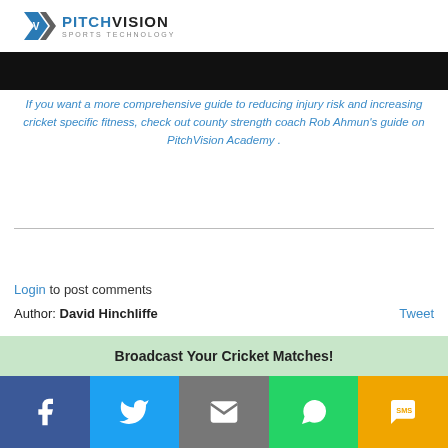[Figure (logo): PitchVision Sports Technology logo with blue PV icon and text]
[Figure (photo): Dark/black image strip at top of content area]
If you want a more comprehensive guide to reducing injury risk and increasing cricket specific fitness, check out county strength coach Rob Ahmun's guide on PitchVision Academy .
Login to post comments
Author: David Hinchliffe   Tweet
Broadcast Your Cricket Matches!
[Figure (infographic): Social sharing bar with Facebook, Twitter, Email, WhatsApp, SMS buttons]